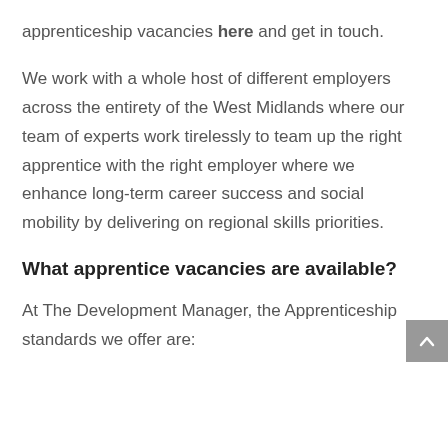apprenticeship vacancies here and get in touch.
We work with a whole host of different employers across the entirety of the West Midlands where our team of experts work tirelessly to team up the right apprentice with the right employer where we enhance long-term career success and social mobility by delivering on regional skills priorities.
What apprentice vacancies are available?
At The Development Manager, the Apprenticeship standards we offer are: